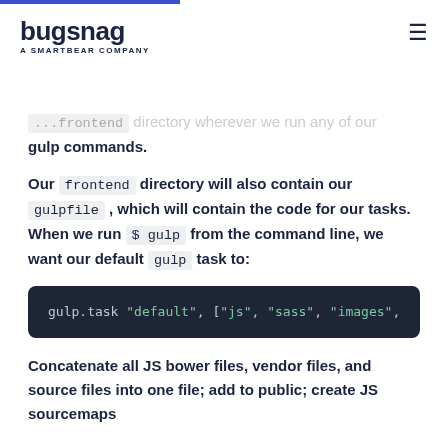bugsnag - A SMARTBEAR COMPANY
...frontend directory wherever we run any of our gulp commands.
Our frontend directory will also contain our gulpfile , which will contain the code for our tasks. When we run $ gulp from the command line, we want our default gulp task to:
[Figure (screenshot): Code block showing: gulp.task "default", ["js", "sass", "images",]
Concatenate all JS bower files, vendor files, and source files into one file; add to public; create JS sourcemaps